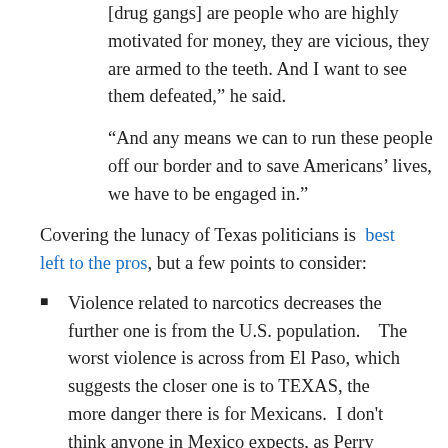[drug gangs] are people who are highly motivated for money, they are vicious, they are armed to the teeth. And I want to see them defeated,” he said.
“And any means we can to run these people off our border and to save Americans’ lives, we have to be engaged in.”
Covering the lunacy of Texas politicians is best left to the pros, but a few points to consider:
Violence related to narcotics decreases the further one is from the U.S. population.   The worst violence is across from El Paso, which suggests the closer one is to TEXAS, the more danger there is for Mexicans.  I don't think anyone in Mexico expects, as Perry seems to suggest, moving the good citizens of Brownsville to Corpus Cristi and everyone from El Paso pick up and flee to Amarillo... but thanks for the good wishes